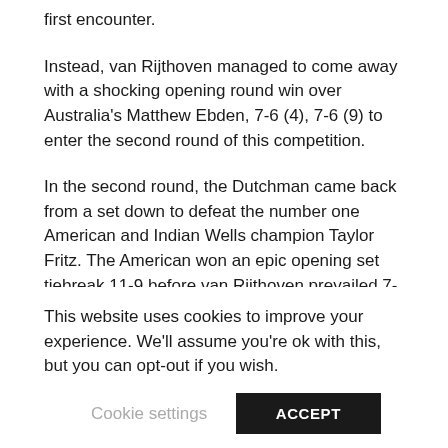first encounter.
Instead, van Rijthoven managed to come away with a shocking opening round win over Australia's Matthew Ebden, 7-6 (4), 7-6 (9) to enter the second round of this competition.
In the second round, the Dutchman came back from a set down to defeat the number one American and Indian Wells champion Taylor Fritz. The American won an epic opening set tiebreak 11-9 before van Rijthoven prevailed 7-5, 6-4 in the next two sets.
Playing Hugo Gaston of France in the quarters, it was a fourth consecutive tiebreak win for the Dutchman this week
This website uses cookies to improve your experience. We'll assume you're ok with this, but you can opt-out if you wish.
Cookie settings    ACCEPT